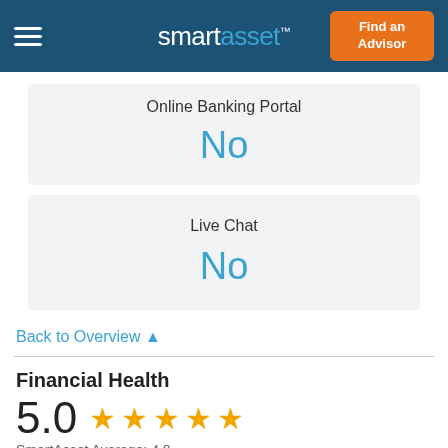smartasset™
| Online Banking Portal |
| --- |
| No |
| Live Chat |
| --- |
| No |
Back to Overview ▲
Financial Health
5.0 ★★★★★
SmartAsset Average: 4.8